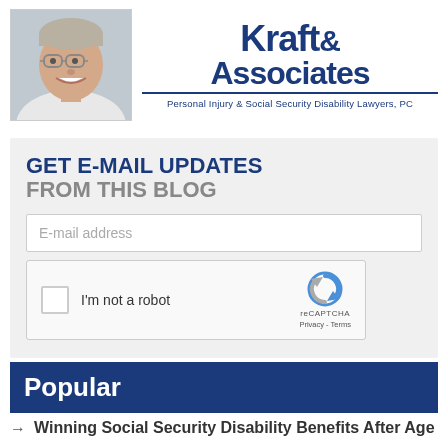[Figure (photo): Headshot of a middle-aged man with glasses, smiling, wearing a light-colored shirt]
[Figure (logo): Kraft & Associates Personal Injury & Social Security Disability Lawyers, PC logo in dark blue]
GET E-MAIL UPDATES
FROM THIS BLOG
E-mail address
[Figure (other): reCAPTCHA widget with checkbox and 'I'm not a robot' text, Privacy and Terms links]
Popular
Winning Social Security Disability Benefits After Age